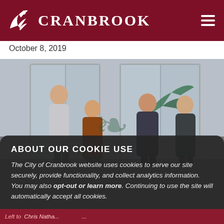CRANBROOK
October 8, 2019
[Figure (photo): Four people posing indoors at what appears to be a recreation or community center entrance, with glass doors and a decorative bird logo visible in the background. Two men on the left, one in a grey shirt and one in a suit jacket, and two men on the right, one in a suit and one in a dark sweater.]
ABOUT OUR COOKIE USE
The City of Cranbrook website uses cookies to serve our site securely, provide functionality, and collect analytics information. You may also opt-out or learn more. Continuing to use the site will automatically accept all cookies.
Left to right: ...